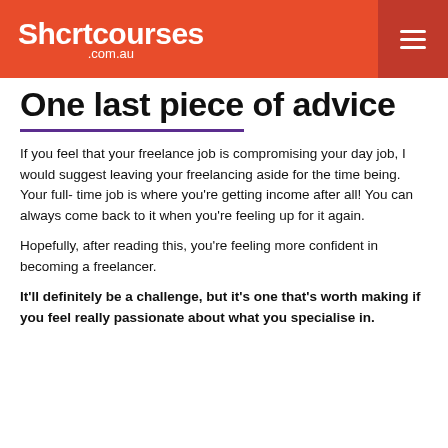Shortcourses.com.au
One last piece of advice
If you feel that your freelance job is compromising your day job, I would suggest leaving your freelancing aside for the time being. Your full-time job is where you're getting income after all! You can always come back to it when you're feeling up for it again.
Hopefully, after reading this, you're feeling more confident in becoming a freelancer.
It'll definitely be a challenge, but it's one that's worth making if you feel really passionate about what you specialise in.